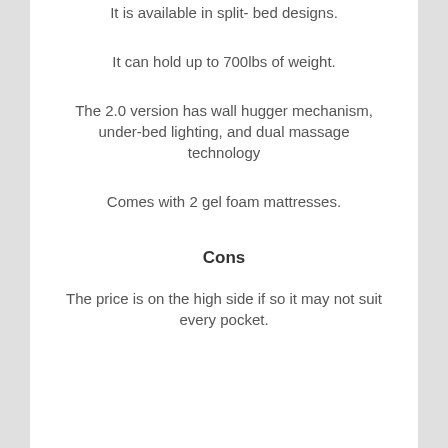It is available in split- bed designs.
It can hold up to 700lbs of weight.
The 2.0 version has wall hugger mechanism, under-bed lighting, and dual massage technology
Comes with 2 gel foam mattresses.
Cons
The price is on the high side if so it may not suit every pocket.